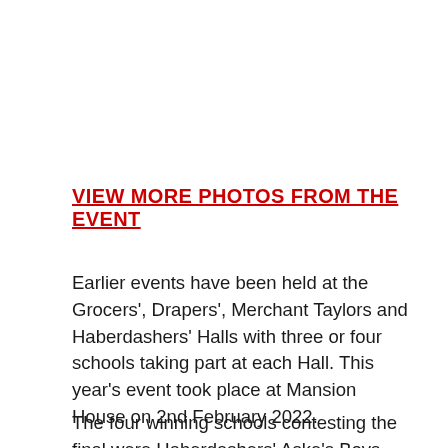VIEW MORE PHOTOS FROM THE EVENT
Earlier events have been held at the Grocers', Drapers', Merchant Taylors and Haberdashers' Halls with three or four schools taking part at each Hall. This year's event took place at Mansion House on 2nd February 2022.
The four winning schools contesting the final were Habordag Lord Abraham Parke Chelsea Acad…